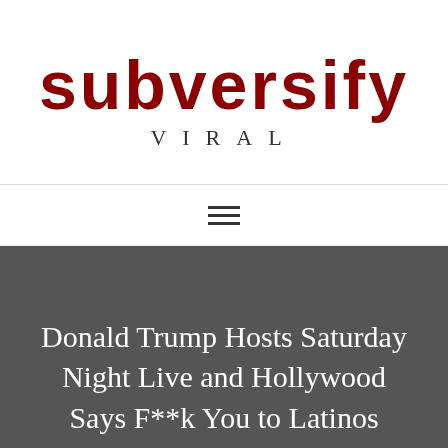[Figure (logo): SubversiFY Viral website logo with red grunge-style text 'subversiFY' and serif uppercase 'VIRAL' below]
[Figure (other): Hamburger menu icon (three horizontal lines)]
Donald Trump Hosts Saturday Night Live and Hollywood Says F**k You to Latinos